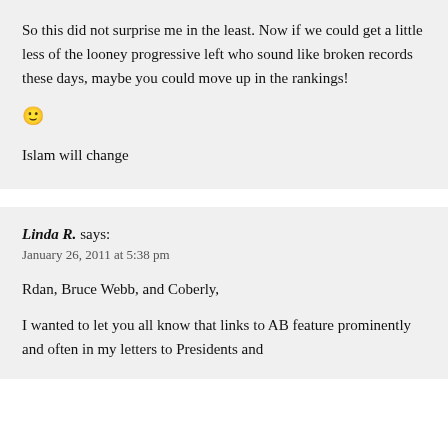So this did not surprise me in the least. Now if we could get a little less of the looney progressive left who sound like broken records these days, maybe you could move up in the rankings!

🙂

Islam will change
Linda R. says:
January 26, 2011 at 5:38 pm

Rdan, Bruce Webb, and Coberly,

I wanted to let you all know that links to AB feature prominently and often in my letters to Presidents and Congress members, all civic-oriented documents...